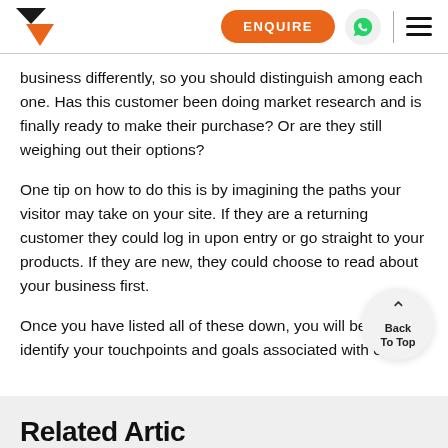ENQUIRE | Navigation header with logo, enquire button, WhatsApp icon, and hamburger menu
business differently, so you should distinguish among each one. Has this customer been doing market research and is finally ready to make their purchase? Or are they still weighing out their options?
One tip on how to do this is by imagining the paths your visitor may take on your site. If they are a returning customer they could log in upon entry or go straight to your products. If they are new, they could choose to read about your business first.
Once you have listed all of these down, you will be able to identify your touchpoints and goals associated with each
Related Articles